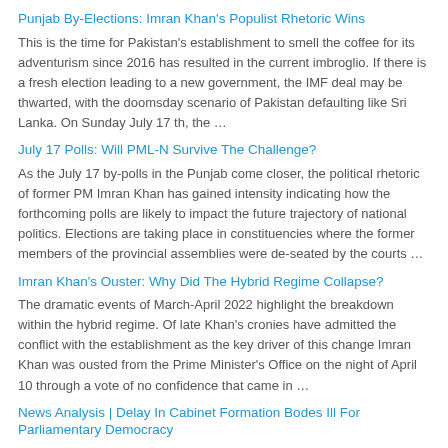Punjab By-Elections: Imran Khan's Populist Rhetoric Wins
This is the time for Pakistan's establishment to smell the coffee for its adventurism since 2016 has resulted in the current imbroglio. If there is a fresh election leading to a new government, the IMF deal may be thwarted, with the doomsday scenario of Pakistan defaulting like Sri Lanka. On Sunday July 17 th, the …
July 17 Polls: Will PML-N Survive The Challenge?
As the July 17 by-polls in the Punjab come closer, the political rhetoric of former PM Imran Khan has gained intensity indicating how the forthcoming polls are likely to impact the future trajectory of national politics. Elections are taking place in constituencies where the former members of the provincial assemblies were de-seated by the courts …
Imran Khan's Ouster: Why Did The Hybrid Regime Collapse?
The dramatic events of March-April 2022 highlight the breakdown within the hybrid regime. Of late Khan's cronies have admitted the conflict with the establishment as the key driver of this change Imran Khan was ousted from the Prime Minister's Office on the night of April 10 through a vote of no confidence that came in …
News Analysis | Delay In Cabinet Formation Bodes Ill For Parliamentary Democracy